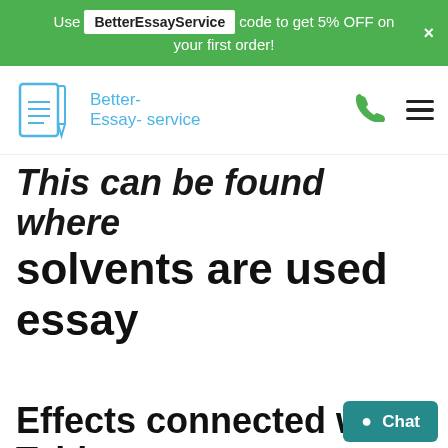Use BetterEssayService code to get 5% OFF on your first order!
[Figure (logo): Better-Essay-service logo with document and pen icon in blue]
This can be found where solvents are used essay
Effects connected with Tablet